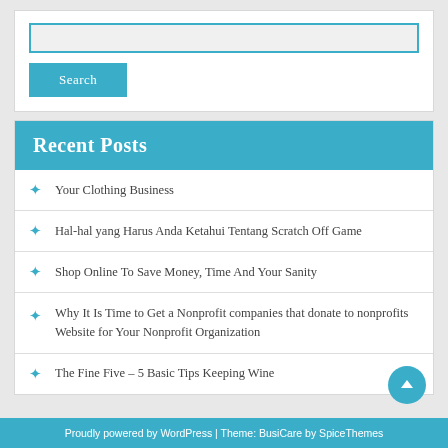[Figure (screenshot): Search input box with teal border]
Search
Recent Posts
Your Clothing Business
Hal-hal yang Harus Anda Ketahui Tentang Scratch Off Game
Shop Online To Save Money, Time And Your Sanity
Why It Is Time to Get a Nonprofit companies that donate to nonprofits Website for Your Nonprofit Organization
The Fine Five – 5 Basic Tips Keeping Wine
Proudly powered by WordPress | Theme: BusiCare by SpiceThemes